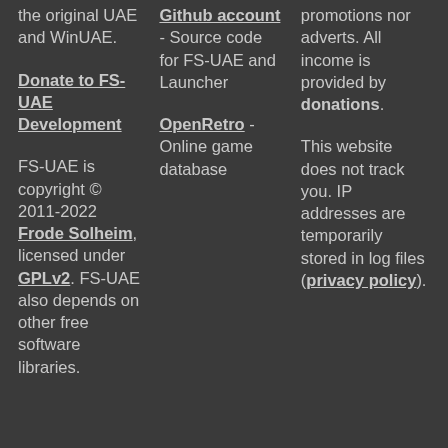the original UAE and WinUAE.
Donate to FS-UAE Development
FS-UAE is copyright © 2011-2022 Frode Solheim, licensed under GPLv2. FS-UAE also depends on other free software libraries.
Github account - Source code for FS-UAE and Launcher
OpenRetro - Online game database
promotions nor adverts. All income is provided by donations.
This website does not track you. IP addresses are temporarily stored in log files (privacy policy).